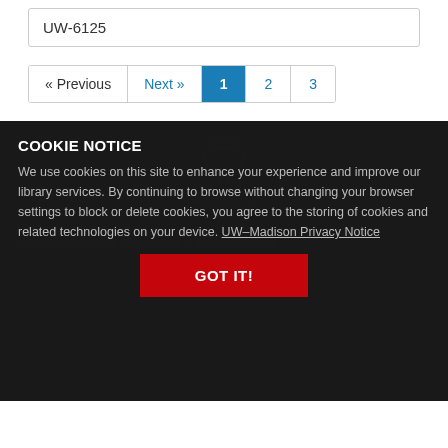UW-6125
« Previous  Next »  1  2  3
COOKIE NOTICE
We use cookies on this site to enhance your experience and improve our library services. By continuing to browse without changing your browser settings to block or delete cookies, you agree to the storing of cookies and related technologies on your device. UW–Madison Privacy Notice
GOT IT!
© Board of Regents of the University of Wisconsin System